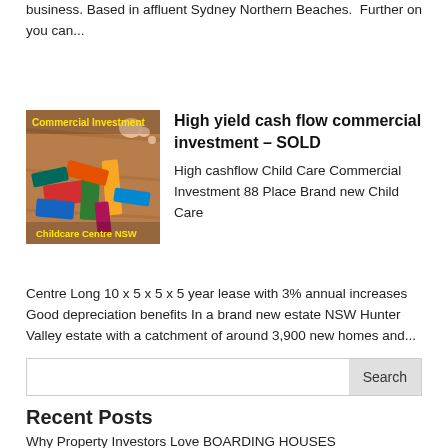business. Based in affluent Sydney Northern Beaches.  Further on you can...
[Figure (photo): Photo of colorful children's building blocks on a wooden surface with text overlays 'Commercial Investment' in yellow and 'Childcare Centre NSW' in yellow at bottom]
High yield cash flow commercial investment – SOLD
High cashflow Child Care Commercial Investment 88 Place Brand new Child Care Centre Long 10 x 5 x 5 x 5 year lease with 3% annual increases Good depreciation benefits In a brand new estate NSW Hunter Valley estate with a catchment of around 3,900 new homes and...
Search
Recent Posts
Why Property Investors Love BOARDING HOUSES